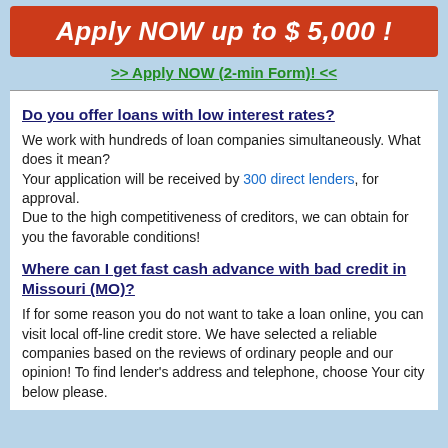Apply NOW up to $ 5,000 !
>> Apply NOW (2-min Form)! <<
Do you offer loans with low interest rates?
We work with hundreds of loan companies simultaneously. What does it mean?
Your application will be received by 300 direct lenders, for approval.
Due to the high competitiveness of creditors, we can obtain for you the favorable conditions!
Where can I get fast cash advance with bad credit in Missouri (MO)?
If for some reason you do not want to take a loan online, you can visit local off-line credit store. We have selected a reliable companies based on the reviews of ordinary people and our opinion! To find lender's address and telephone, choose Your city below please.